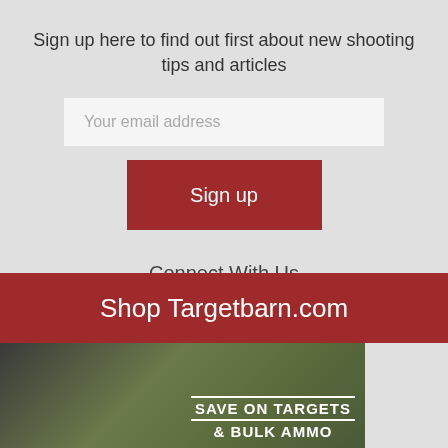Sign up here to find out first about new shooting tips and articles
Your email address
Sign up
Connect With Us
[Figure (other): White square placeholder/social media icon box]
Shop Targetbarn.com
[Figure (photo): Photo of person shooting with text overlay: SAVE ON TARGETS & BULK AMMO]